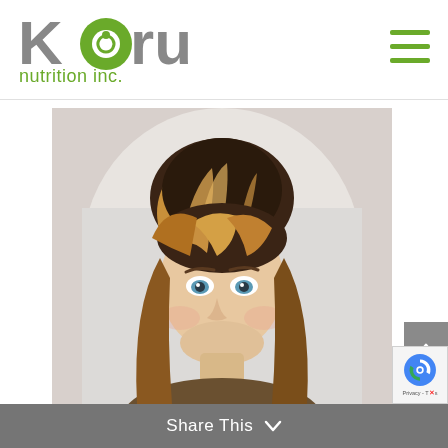[Figure (logo): Koru Nutrition Inc. company logo with stylized K with green spiral O, followed by 'oru' in gray, and 'nutrition inc.' in green below]
[Figure (other): Three horizontal green lines forming a hamburger menu icon in the top right]
[Figure (photo): Professional headshot of a young woman with blonde and brown highlighted hair with bangs, blue eyes, smiling, on a white/light gray background]
Share This
[Figure (other): Gray scroll-to-top button with upward chevron arrow]
[Figure (other): reCAPTCHA badge with Google reCAPTCHA logo and Privacy - Terms text]